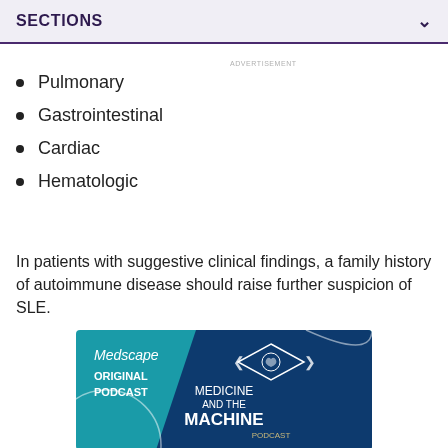SECTIONS
Pulmonary
Gastrointestinal
Cardiac
Hematologic
In patients with suggestive clinical findings, a family history of autoimmune disease should raise further suspicion of SLE.
[Figure (photo): Medscape Original Podcast advertisement banner for 'Medicine and the Machine Podcast' with teal and dark navy background, brain icon in diamond shape, and podcast branding.]